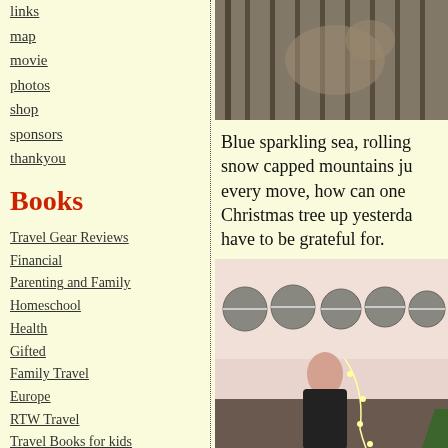links
map
movie
photos
shop
sponsors
thankyou
Books
Travel Gear Reviews
Financial
Parenting and Family
Homeschool
Health
Gifted
Family Travel
Europe
RTW Travel
Travel Books for kids
Children's literature
Book Reviews
[Figure (photo): Photo of animal behind bars/fence, partially visible at top]
Blue sparkling sea, rolling snow capped mountains ju every move, how can one Christmas tree up yesterda have to be grateful for.
[Figure (photo): Photo of a child holding string lights with round stone decorations on the wall behind]